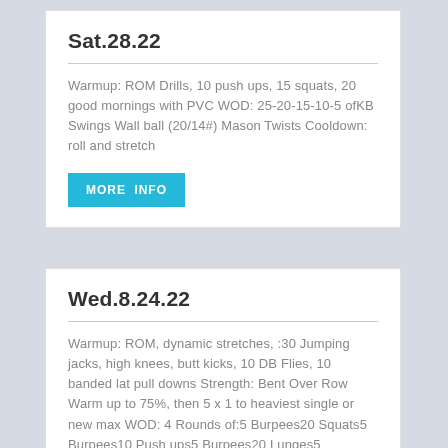Sat.28.22
Warmup: ROM Drills, 10 push ups, 15 squats, 20 good mornings with PVC WOD: 25-20-15-10-5 ofKB Swings Wall ball (20/14#) Mason Twists Cooldown:  roll and stretch
MORE INFO
Wed.8.24.22
Warmup: ROM, dynamic stretches, :30 Jumping jacks, high knees, butt kicks, 10 DB Flies, 10 banded lat pull downs Strength: Bent Over Row Warm up to 75%, then 5 x 1 to heaviest single or new max WOD: 4 Rounds of:5 Burpees20 Squats5 Burpees10 Push ups5 Burpees20 Lunges5 Burpees10 V-ups Cooldown: Roll out